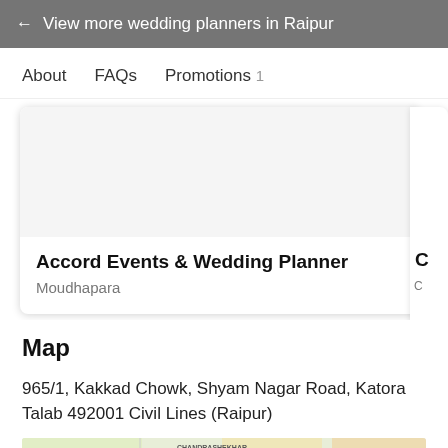← View more wedding planners in Raipur
About   FAQs   Promotions 1
Accord Events & Wedding Planner
Moudhapara
Map
965/1, Kakkad Chowk, Shyam Nagar Road, Katora Talab 492001 Civil Lines (Raipur)
[Figure (map): Partial Google Maps view showing PWD Colony, Chandrashekhar Nagar, and Moulidara area labels]